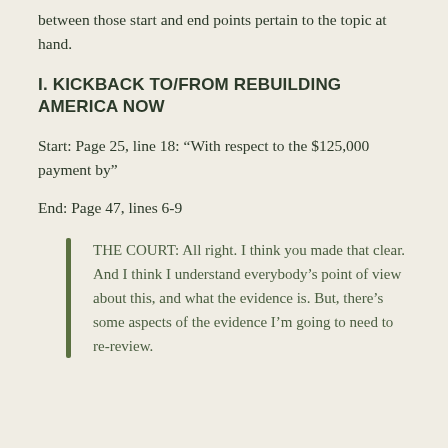between those start and end points pertain to the topic at hand.
I. KICKBACK TO/FROM REBUILDING AMERICA NOW
Start: Page 25, line 18: “With respect to the $125,000 payment by”
End: Page 47, lines 6-9
THE COURT: All right. I think you made that clear. And I think I understand everybody’s point of view about this, and what the evidence is. But, there’s some aspects of the evidence I’m going to need to re-review.